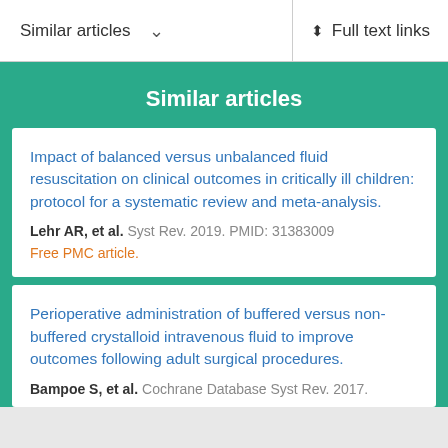Similar articles  ∨    Full text links
Similar articles
Impact of balanced versus unbalanced fluid resuscitation on clinical outcomes in critically ill children: protocol for a systematic review and meta-analysis.
Lehr AR, et al. Syst Rev. 2019. PMID: 31383009
Free PMC article.
Perioperative administration of buffered versus non-buffered crystalloid intravenous fluid to improve outcomes following adult surgical procedures.
Bampoe S, et al. Cochrane Database Syst Rev. 2017.